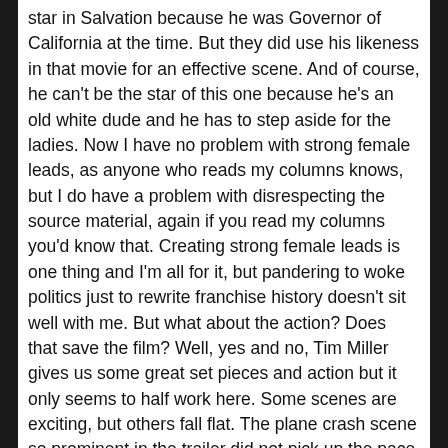star in Salvation because he was Governor of California at the time. But they did use his likeness in that movie for an effective scene. And of course, he can't be the star of this one because he's an old white dude and he has to step aside for the ladies. Now I have no problem with strong female leads, as anyone who reads my columns knows, but I do have a problem with disrespecting the source material, again if you read my columns you'd know that. Creating strong female leads is one thing and I'm all for it, but pandering to woke politics just to rewrite franchise history doesn't sit well with me. But what about the action? Does that save the film? Well, yes and no, Tim Miller gives us some great set pieces and action but it only seems to half work here. Some scenes are exciting, but others fall flat. The plane crash scene so prominent in the trailer did not pick up the pace for me at all. The best part of this film is the chemistry between Linda Hamilton and Arnold Schwarzenegger. These veterans of the franchise know how to steal the show and were the only time I felt invested in this new experience. It was a smart move bringing Hamilton back as she's the only character in the film that in any way acts human. Grace is supposed to be a human/terminator hybrid